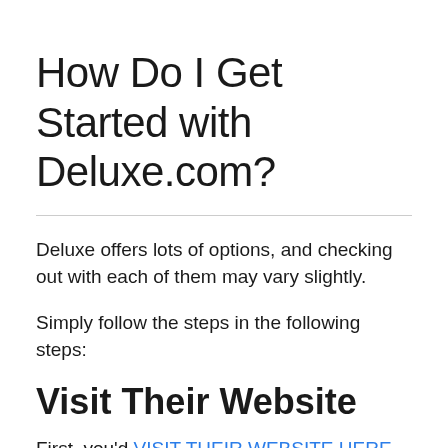How Do I Get Started with Deluxe.com?
Deluxe offers lots of options, and checking out with each of them may vary slightly.
Simply follow the steps in the following steps:
Visit Their Website
First, you'd VISIT THEIR WEBSITE HERE.